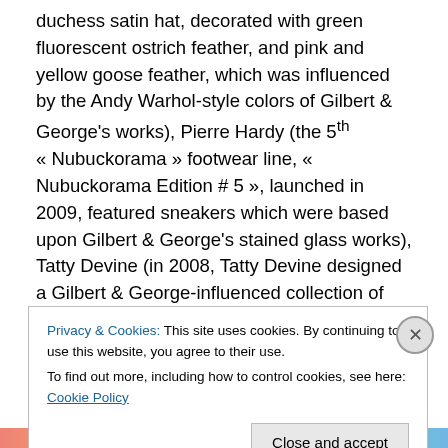duchess satin hat, decorated with green fluorescent ostrich feather, and pink and yellow goose feather, which was influenced by the Andy Warhol-style colors of Gilbert & George's works), Pierre Hardy (the 5th « Nubuckorama » footwear line, « Nubuckorama Edition # 5 », launched in 2009, featured sneakers which were based upon Gilbert & George's stained glass works), Tatty Devine (in 2008, Tatty Devine designed a Gilbert & George-influenced collection of accessories and objects, in collaboration with San Francisco's de Young Gallery, to celebrate the museum's « Gilbert & George »
Privacy & Cookies: This site uses cookies. By continuing to use this website, you agree to their use.
To find out more, including how to control cookies, see here: Cookie Policy
Close and accept